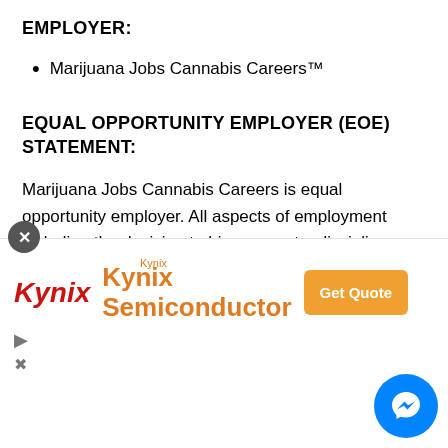EMPLOYER:
Marijuana Jobs Cannabis Careers™
EQUAL OPPORTUNITY EMPLOYER (EOE) STATEMENT:
Marijuana Jobs Cannabis Careers is equal opportunity employer. All aspects of employment including the decision to hire, promote, discipline, or discharge, will be based on merit, competence, performance, and business needs. We do not discriminate on the basis of race, color, religion, marital st... o... p... S...